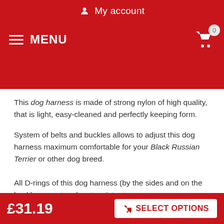My account
MENU
This dog harness is made of strong nylon of high quality, that is light, easy-cleaned and perfectly keeping form.
System of belts and buckles allows to adjust this dog harness maximum comfortable for your Black Russian Terrier or other dog breed.
All D-rings of this dog harness (by the sides and on the back) are cast and rust-resistant.
Click on the photo to enlarge the image
[Figure (photo): Close-up photo of a black nylon dog harness with gold stitching and metal D-rings]
£31.19  SELECT OPTIONS